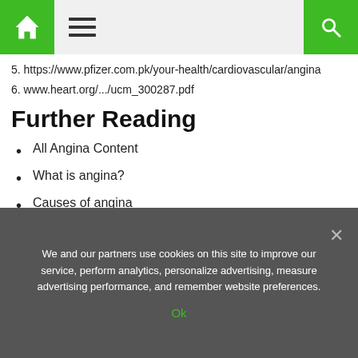Navigation bar with home icon, hamburger menu, and search icon
5. https://www.pfizer.com.pk/your-health/cardiovascular/angina
6. www.heart.org/.../ucm_300287.pdf
Further Reading
All Angina Content
What is angina?
Causes of angina
Symptoms of angina
Diagnosis of angina
Last Updated: Apr 25, 2019
We and our partners use cookies on this site to improve our service, perform analytics, personalize advertising, measure advertising performance, and remember website preferences.